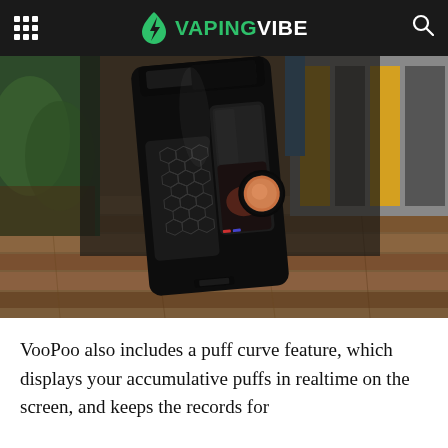VAPINGVIBE
[Figure (photo): Close-up photo of a VooPoo vape mod device with hexagonal mesh pattern and circular fire button, leaning against a wooden deck surface with colorful striped barrier in background]
VooPoo also includes a puff curve feature, which displays your accumulative puffs in realtime on the screen, and keeps the records for